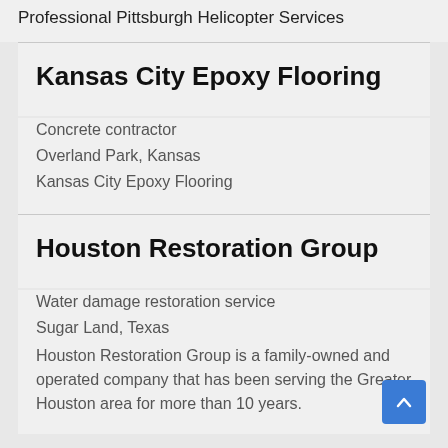Professional Pittsburgh Helicopter Services
Kansas City Epoxy Flooring
Concrete contractor
Overland Park, Kansas
Kansas City Epoxy Flooring
Houston Restoration Group
Water damage restoration service
Sugar Land, Texas
Houston Restoration Group is a family-owned and operated company that has been serving the Greater Houston area for more than 10 years.